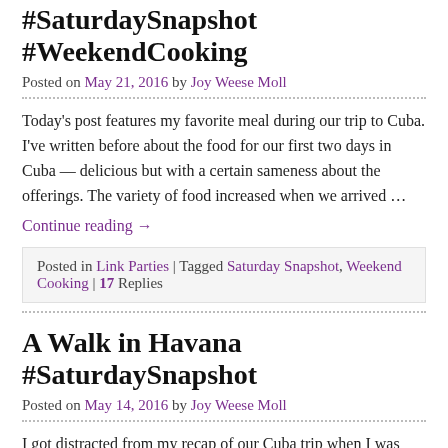#SaturdaySnapshot #WeekendCooking
Posted on May 21, 2016 by Joy Weese Moll
Today's post features my favorite meal during our trip to Cuba. I've written before about the food for our first two days in Cuba — delicious but with a certain sameness about the offerings. The variety of food increased when we arrived …
Continue reading →
Posted in Link Parties | Tagged Saturday Snapshot, Weekend Cooking | 17 Replies
A Walk in Havana #SaturdaySnapshot
Posted on May 14, 2016 by Joy Weese Moll
I got distracted from my recap of our Cuba trip when I was preparing a presentation on our trip to give at local libraries. I've since then …